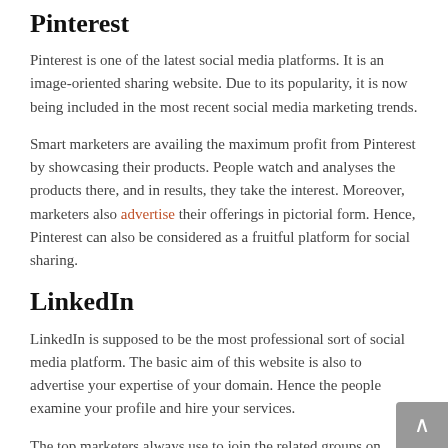Pinterest
Pinterest is one of the latest social media platforms. It is an image-oriented sharing website. Due to its popularity, it is now being included in the most recent social media marketing trends.
Smart marketers are availing the maximum profit from Pinterest by showcasing their products. People watch and analyses the products there, and in results, they take the interest. Moreover, marketers also advertise their offerings in pictorial form. Hence, Pinterest can also be considered as a fruitful platform for social sharing.
LinkedIn
LinkedIn is supposed to be the most professional sort of social media platform. The basic aim of this website is also to advertise your expertise of your domain. Hence the people examine your profile and hire your services.
The top marketers always use to join the related groups on